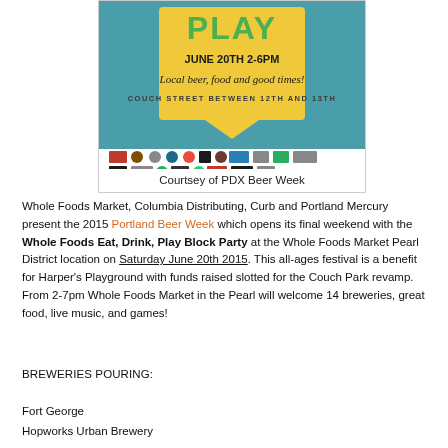[Figure (illustration): PDX Beer Week event flyer for Whole Foods Eat, Drink, Play Block Party. Teal/blue background with large yellow speech bubble shape. Text reads PLAY in green letters at the top, JUNE 20TH 2-6PM, 'Local beer, food and good times!', COUCH STREET BETWEEN 12TH AND 13TH. Below are two rows of sponsor/brewery logos.]
Courtsey of PDX Beer Week
Whole Foods Market, Columbia Distributing, Curb and Portland Mercury present the 2015 Portland Beer Week which opens its final weekend with the Whole Foods Eat, Drink, Play Block Party at the Whole Foods Market Pearl District location on Saturday June 20th 2015. This all-ages festival is a benefit for Harper's Playground with funds raised slotted for the Couch Park revamp. From 2-7pm Whole Foods Market in the Pearl will welcome 14 breweries, great food, live music, and games!
BREWERIES POURING:
Fort George
Hopworks Urban Brewery